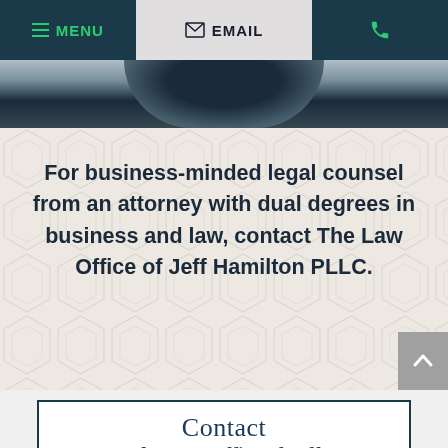MENU | EMAIL | (phone icon)
[Figure (photo): Partial view of a dark object (likely a hat or bowl) on a light background, cropped hero image strip]
For business-minded legal counsel from an attorney with dual degrees in business and law, contact The Law Office of Jeff Hamilton PLLC.
Contact The Law Office of Jeff